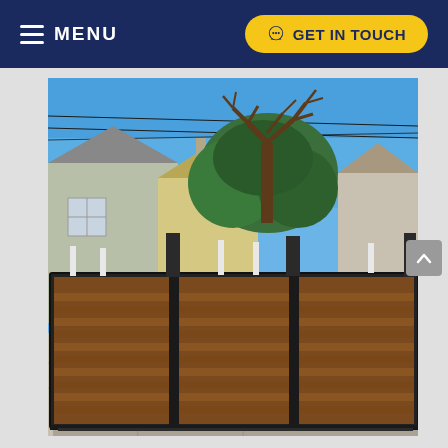MENU | GET IN TOUCH
[Figure (photo): A large horizontal wooden fence/gate with dark metal posts and frame, featuring horizontal cedar planks. Behind the fence are residential houses with chimneys, a large bare tree, and a clear blue sky with power lines visible. The photo is taken from street level showing a driveway or alley in front of the gate.]